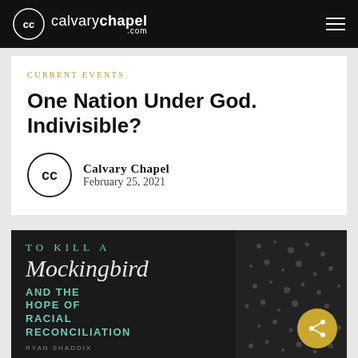calvarychapel.com
Current Events
One Nation Under God. Indivisible?
Calvary Chapel
February 25, 2021
[Figure (photo): Book cover: 'To Kill a Mockingbird and the Hope of Racial Reconciliation' by Ryan Shaddix, with teal and white lettering on dark background, decorative floral pattern on right side]